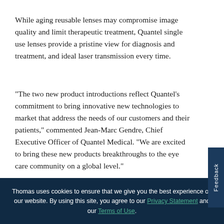While aging reusable lenses may compromise image quality and limit therapeutic treatment, Quantel single use lenses provide a pristine view for diagnosis and treatment, and ideal laser transmission every time.
"The two new product introductions reflect Quantel's commitment to bring innovative new technologies to market that address the needs of our customers and their patients," commented Jean-Marc Gendre, Chief Executive Officer of Quantel Medical. "We are excited to bring these new product breakthroughs to the eye care community on a global level."
Thomas uses cookies to ensure that we give you the best experience on our website. By using this site, you agree to our Privacy Statement and our Terms of Use.